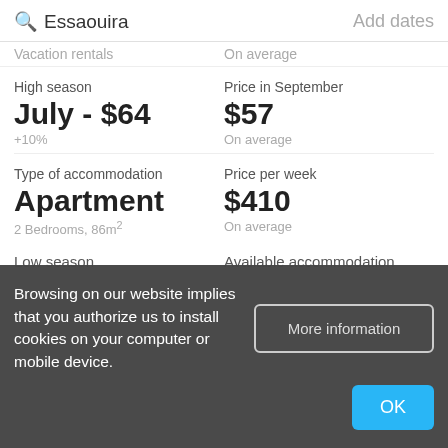Essaouira | Add dates
vacation rentals | On average
High season
July - $64
+10%
Price in September
$57
On average
Type of accommodation
Apartment
2 Bedrooms, 86m²
Price per week
$410
On average
Low season | Available accommodation
Browsing on our website implies that you authorize us to install cookies on your computer or mobile device.
More information
OK